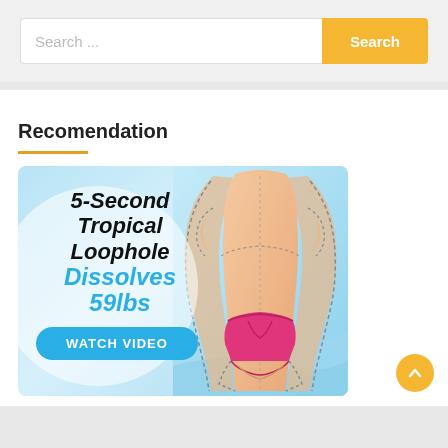[Figure (screenshot): Search bar with text input field showing 'Search ...' placeholder and an orange 'Search' button on the right]
Recomendation
[Figure (infographic): Advertisement banner with light blue background showing text '5-Second Tropical Loophole Dissolves 59lbs' with a 'WATCH VIDEO' button and an illustration of a woman's torso with dashed body-contouring lines and pink underwear]